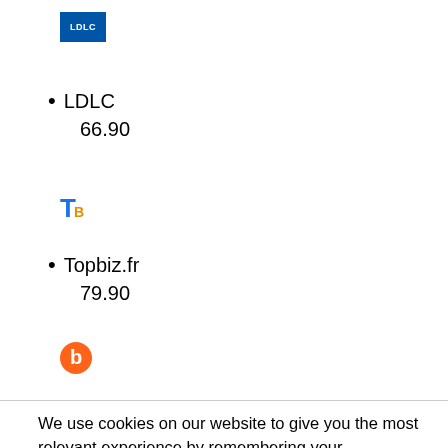[Figure (logo): LDLC logo - blue rectangle with white text LDLC]
LDLC
66.90
[Figure (logo): Topbiz.fr logo - blue T with orange b]
Topbiz.fr
79.90
[Figure (logo): Boulanger logo - orange circle with white b]
We use cookies on our website to give you the most relevant experience by remembering your preferences and repeat visits. By clicking “Accept All”, you consent to the use of ALL the cookies. However, you may visit "Cookie Settings" to provide a controlled consent.